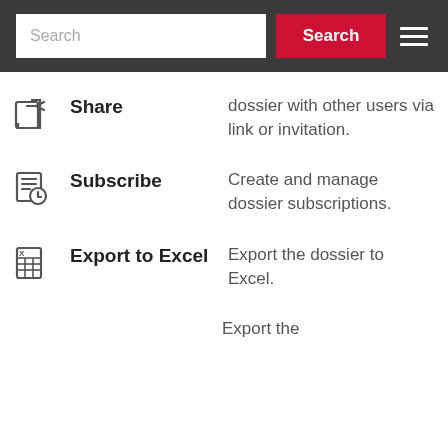Search
Share — dossier with other users via link or invitation.
Subscribe — Create and manage dossier subscriptions.
Export to Excel — Export the dossier to Excel.
Export the